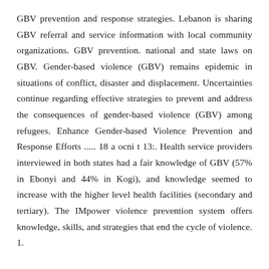GBV prevention and response strategies. Lebanon is sharing GBV referral and service information with local community organizations. GBV prevention. national and state laws on GBV. Gender-based violence (GBV) remains epidemic in situations of conflict, disaster and displacement. Uncertainties continue regarding effective strategies to prevent and address the consequences of gender-based violence (GBV) among refugees. Enhance Gender-based Violence Prevention and Response Efforts ..... 18 a ocni t 13:. Health service providers interviewed in both states had a fair knowledge of GBV (57% in Ebonyi and 44% in Kogi), and knowledge seemed to increase with the higher level health facilities (secondary and tertiary). The IMpower violence prevention system offers knowledge, skills, and strategies that end the cycle of violence. 1.